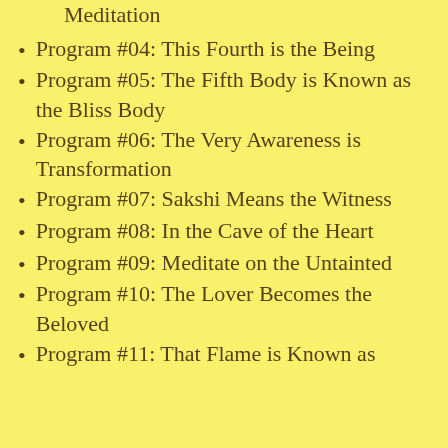Program #03: The Mystery of Meditation
Program #04: This Fourth is the Being
Program #05: The Fifth Body is Known as the Bliss Body
Program #06: The Very Awareness is Transformation
Program #07: Sakshi Means the Witness
Program #08: In the Cave of the Heart
Program #09: Meditate on the Untainted
Program #10: The Lover Becomes the Beloved
Program #11: That Flame is Known as